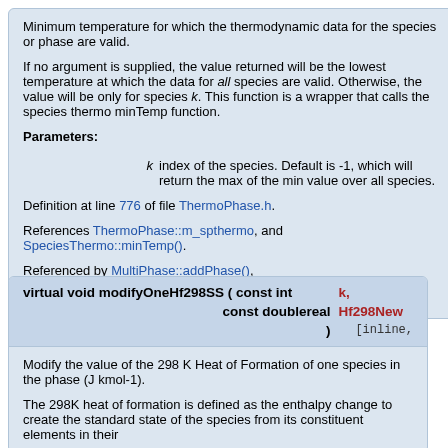Minimum temperature for which the thermodynamic data for the species or phase are valid.
If no argument is supplied, the value returned will be the lowest temperature at which the data for all species are valid. Otherwise, the value will be only for species k. This function is a wrapper that calls the species thermo minTemp function.
Parameters:
k   index of the species. Default is -1, which will return the max of the min value over all species.
Definition at line 776 of file ThermoPhase.h.
References ThermoPhase::m_spthermo, and SpeciesThermo::minTemp().
Referenced by MultiPhase::addPhase(), ThermoPhase::setState_HPorUV(), and ThermoPhase::setState_SPorSV().
| virtual void modifyOneHf298SS ( const int | k, |
|  | const doublereal | Hf298New |
| ) | [inline, |
Modify the value of the 298 K Heat of Formation of one species in the phase (J kmol-1).
The 298K heat of formation is defined as the enthalpy change to create the standard state of the species from its constituent elements in their